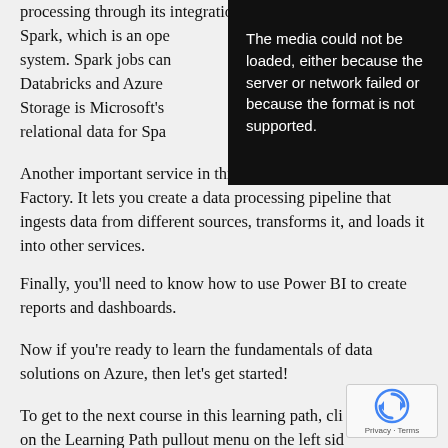processing through its integration with Apache Spark, which is an open system. Spark jobs can Databricks and Azure Data Storage is Microsoft's s relational data for Spa
Another important service in this section is Azure Data Factory. It lets you create a data processing pipeline that ingests data from different sources, transforms it, and loads it into other services.
Finally, you’ll need to know how to use Power BI to create reports and dashboards.
Now if you’re ready to learn the fundamentals of data solutions on Azure, then let’s get started!
To get to the next course in this learning path, cli on the Learning Path pullout menu on the left sid